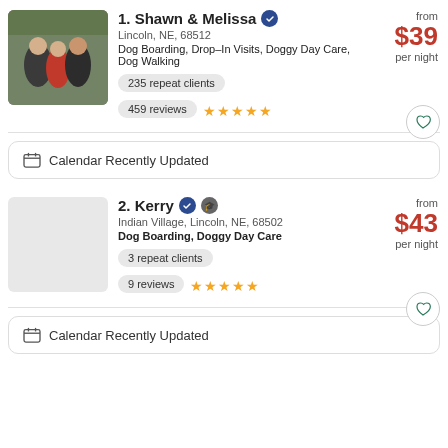1. Shawn & Melissa — Lincoln, NE, 68512 — Dog Boarding, Drop-In Visits, Doggy Day Care, Dog Walking — from $39 per night — 235 repeat clients — 459 reviews ★★★★★
Calendar Recently Updated
2. Kerry — Indian Village, Lincoln, NE, 68502 — Dog Boarding, Doggy Day Care — from $43 per night — 3 repeat clients — 9 reviews ★★★★★
Calendar Recently Updated